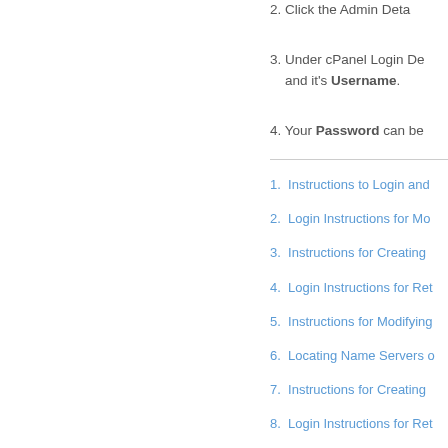2. Click the Admin Deta
3. Under cPanel Login De and it's Username.
4. Your Password can be
1. Instructions to Login and
2. Login Instructions for Mo
3. Instructions for Creating
4. Login Instructions for Ret
5. Instructions for Modifying
6. Locating Name Servers o
7. Instructions for Creating
8. Login Instructions for Ret
9. Instructions for Modifying